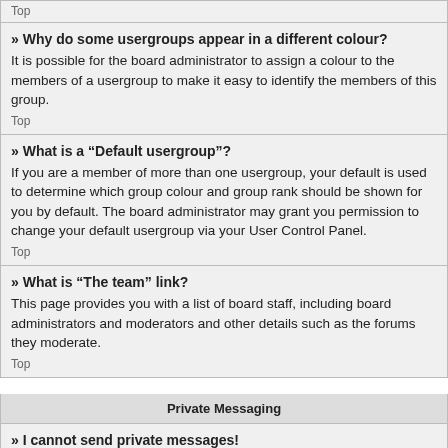Top
» Why do some usergroups appear in a different colour?
It is possible for the board administrator to assign a colour to the members of a usergroup to make it easy to identify the members of this group.
Top
» What is a “Default usergroup”?
If you are a member of more than one usergroup, your default is used to determine which group colour and group rank should be shown for you by default. The board administrator may grant you permission to change your default usergroup via your User Control Panel.
Top
» What is “The team” link?
This page provides you with a list of board staff, including board administrators and moderators and other details such as the forums they moderate.
Top
Private Messaging
» I cannot send private messages!
There are three reasons for this; you are not registered and/or not logged on, the board administrator has disabled private messaging,